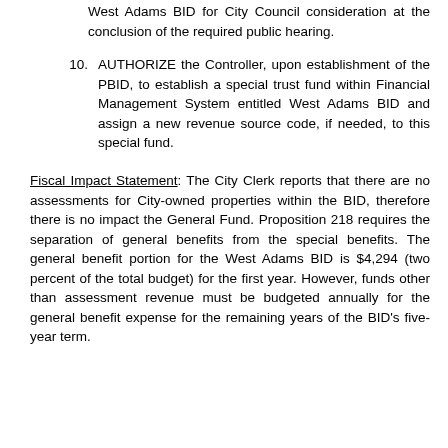West Adams BID for City Council consideration at the conclusion of the required public hearing.
10. AUTHORIZE the Controller, upon establishment of the PBID, to establish a special trust fund within Financial Management System entitled West Adams BID and assign a new revenue source code, if needed, to this special fund.
Fiscal Impact Statement: The City Clerk reports that there are no assessments for City-owned properties within the BID, therefore there is no impact the General Fund. Proposition 218 requires the separation of general benefits from the special benefits. The general benefit portion for the West Adams BID is $4,294 (two percent of the total budget) for the first year. However, funds other than assessment revenue must be budgeted annually for the general benefit expense for the remaining years of the BID's five-year term.